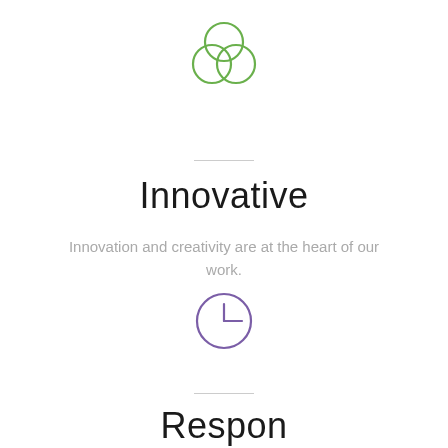[Figure (illustration): Three overlapping circles forming a Venn diagram icon, outlined in green, centered at top of page]
Innovative
Innovation and creativity are at the heart of our work.
[Figure (illustration): Clock icon outlined in purple, showing roughly 3 o'clock position, centered in lower half of page]
Respon...